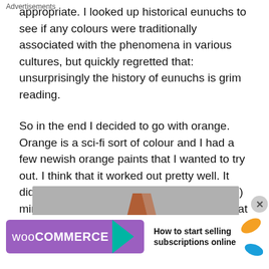appropriate.  I looked up historical eunuchs to see if any colours were traditionally associated with the phenomena in various cultures, but quickly regretted that: unsurprisingly the history of eunuchs is grim reading.
So in the end I decided to go with orange.  Orange is a sci-fi sort of colour and I had a few newish orange paints that I wanted to try out.  I think that it worked out pretty well.  It didnt occur to me until a “Zed” (from Zardoz) miniature arrived in the post this morning that the scheme matches it closely, bare legs and everything.  I guess that Zed and Milo will have to be buddies.
[Figure (photo): Partial view of a photo strip with grey background and a small orange/brown shape visible at the bottom center]
Advertisements
[Figure (other): WooCommerce advertisement banner: purple box with WooCommerce logo and teal arrow, text 'How to start selling subscriptions online', orange and teal leaf decorations on right]